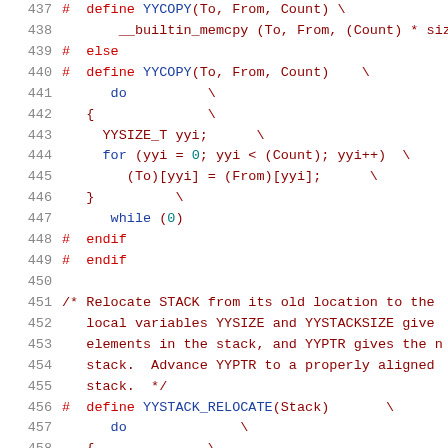[Figure (screenshot): Source code listing lines 437-458 with syntax highlighting in monospace font. Colors: red for preprocessor directives, blue for keywords, teal for numeric literals, dark red for comments.]